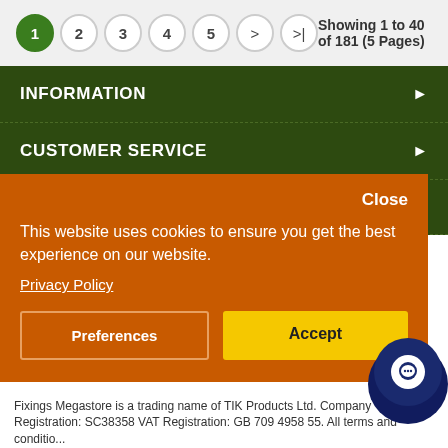Showing 1 to 40 of 181 (5 Pages)
INFORMATION
CUSTOMER SERVICE
This website uses cookies to ensure you get the best experience on our website.
Privacy Policy
Preferences
Accept
Fixings Megastore is a trading name of TIK Products Ltd. Company Registration: SC38358 VAT Registration: GB 709 4958 55. All terms and conditions